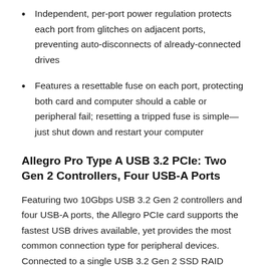Independent, per-port power regulation protects each port from glitches on adjacent ports, preventing auto-disconnects of already-connected drives
Features a resettable fuse on each port, protecting both card and computer should a cable or peripheral fail; resetting a tripped fuse is simple—just shut down and restart your computer
Allegro Pro Type A USB 3.2 PCIe: Two Gen 2 Controllers, Four USB-A Ports
Featuring two 10Gbps USB 3.2 Gen 2 controllers and four USB-A ports, the Allegro PCIe card supports the fastest USB drives available, yet provides the most common connection type for peripheral devices. Connected to a single USB 3.2 Gen 2 SSD RAID device, the Allegro supports data transfers up to 800 MB/s—transfers complete in half the time compared with using a USB 3.1 Gen 1 or USB 3.0 adapter card. Made possible through the use of